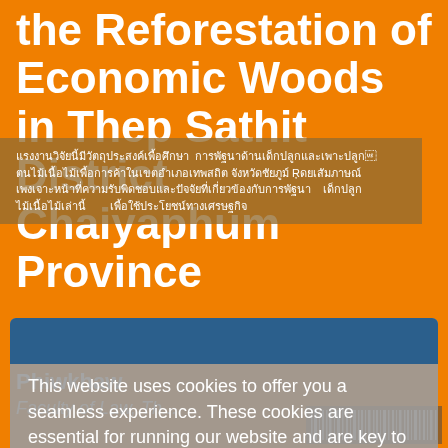the Reforestation of Economic Woods in Thep Sathit District Chaiyaphum Province
Thai text (abstract) in Thai script
This website uses cookies to offer you a seamless experience. These cookies are essential for running our website and are key to providing you a smoother and more personalized experience. By using our website, you acknowledge that you have read and understand our cookie policy.  Privacy policy
Accept
Wutthikrai Phiwkhaw
Faculty of Law, Th...